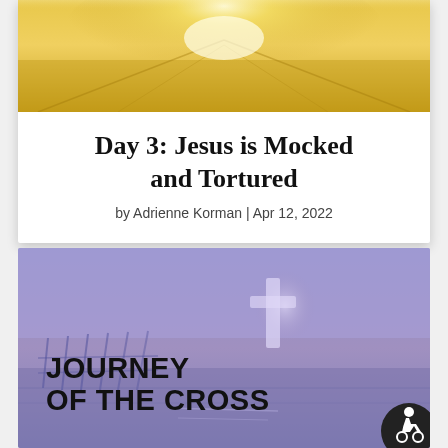[Figure (illustration): Top card with golden/yellow painterly landscape image at top, white background below with article title and byline]
Day 3: Jesus is Mocked and Tortured
by Adrienne Korman | Apr 12, 2022
[Figure (illustration): Purple-toned moody landscape image with a cross figure visible, overlaid with bold text 'JOURNEY OF THE CROSS' and an accessibility icon in the bottom right corner]